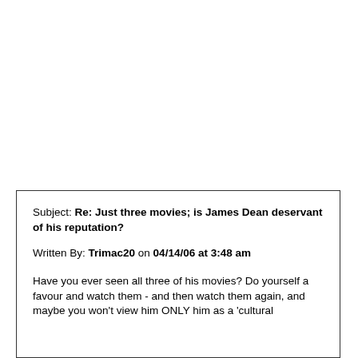Subject: Re: Just three movies; is James Dean deservant of his reputation?
Written By: Trimac20 on 04/14/06 at 3:48 am
Have you ever seen all three of his movies? Do yourself a favour and watch them - and then watch them again, and maybe you won't view him ONLY him as a 'cultural